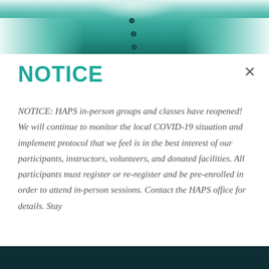[Figure (photo): Top photo banner showing a person wearing a teal/mint medical or scrubs-style garment with visible buttons down the center front.]
NOTICE
NOTICE: HAPS in-person groups and classes have reopened! We will continue to monitor the local COVID-19 situation and implement protocol that we feel is in the best interest of our participants, instructors, volunteers, and donated facilities. All participants must register or re-register and be pre-enrolled in order to attend in-person sessions. Contact the HAPS office for details. Stay